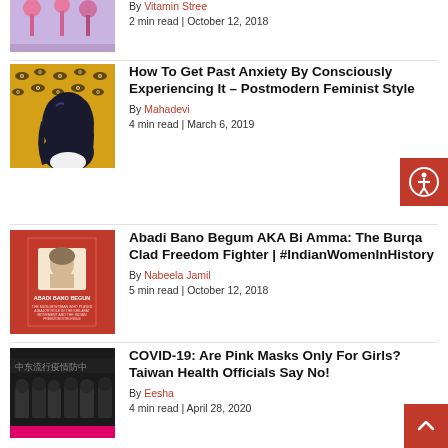[Figure (illustration): Partial thumbnail of lavender illustration with pink lollipop-like figures]
By Vitamin Stree
2 min read | October 12, 2018
[Figure (illustration): Yellow/gold background with eye pattern, figure with dark hair]
How To Get Past Anxiety By Consciously Experiencing It – Postmodern Feminist Style
By Mahadevi
4 min read | March 6, 2019
[Figure (illustration): Red book cover: Abadi Bano Begun text with portrait illustration]
Abadi Bano Begum AKA Bi Amma: The Burqa Clad Freedom Fighter | #IndianWomenInHistory
By Nabeela Jamil
5 min read | October 12, 2018
[Figure (photo): Dark photo of people in black, Chinese/Taiwanese text banners]
COVID-19: Are Pink Masks Only For Girls? Taiwan Health Officials Say No!
By Eesha
4 min read | April 28, 2020